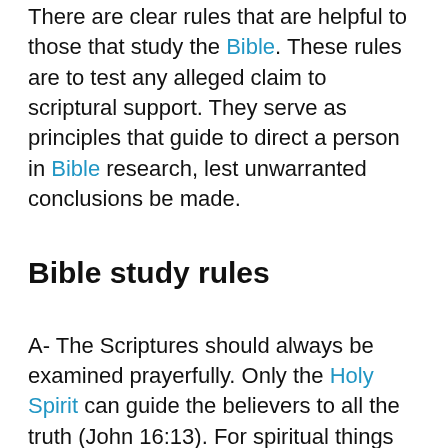There are clear rules that are helpful to those that study the Bible. These rules are to test any alleged claim to scriptural support. They serve as principles that guide to direct a person in Bible research, lest unwarranted conclusions be made.
Bible study rules
A- The Scriptures should always be examined prayerfully. Only the Holy Spirit can guide the believers to all the truth (John 16:13). For spiritual things are spiritually discerned (1 Corinthians 2:14). Thus, a man without the Holy Spirit is not able to comprehend divine things. Prayer with the desire to learn of God, will help the believer to receive God's instruction (Psalm 86:11; 25:4).